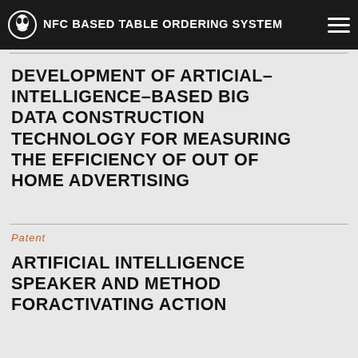NFC BASED TABLE ORDERING SYSTEM
DEVELOPMENT OF ARTICIAL–INTELLIGENCE–BASED BIG DATA CONSTRUCTION TECHNOLOGY FOR MEASURING THE EFFICIENCY OF OUT OF HOME ADVERTISING
Patent
ARTIFICIAL INTELLIGENCE SPEAKER AND METHOD FORACTIVATING ACTION